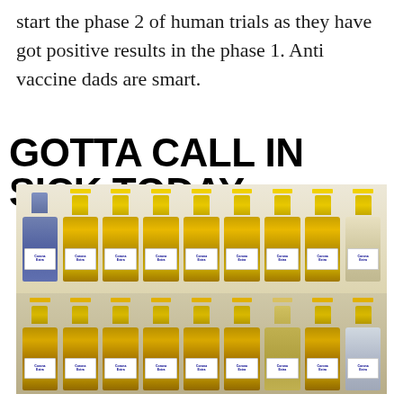start the phase 2 of human trials as they have got positive results in the phase 1. Anti vaccine dads are smart.
GOTTA CALL IN SICK TODAY
[Figure (photo): A refrigerator packed with two shelves full of Corona Extra beer bottles, arranged closely together.]